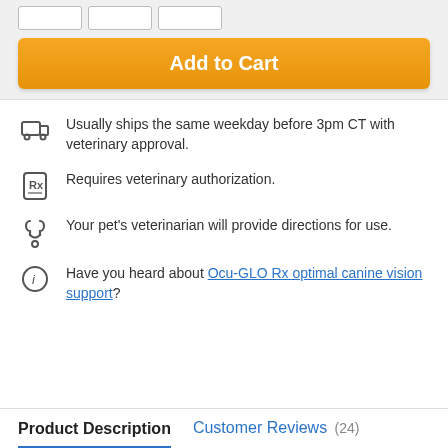[Figure (other): Three empty input boxes in a row at the top of the page]
Add to Cart
Usually ships the same weekday before 3pm CT with veterinary approval.
Requires veterinary authorization.
Your pet's veterinarian will provide directions for use.
Have you heard about Ocu-GLO Rx optimal canine vision support?
Product Description
Customer Reviews (24)